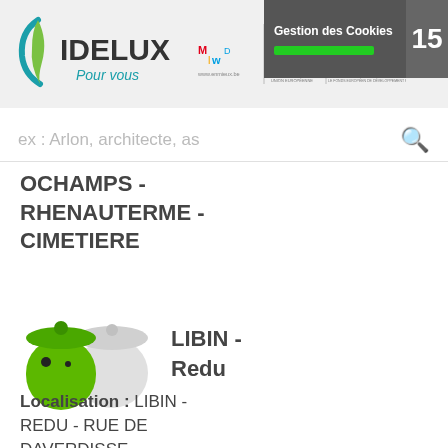[Figure (logo): IDELUX Pour vous logo with teal and green swoosh icon]
[Figure (logo): enmieux.be logo and EU/Wallonie funding logos]
[Figure (screenshot): Gestion des Cookies popup with green progress bar and number 15]
ex : Arlon, architecte, as
OCHAMPS - RHENAUTERME - CIMETIERE
[Figure (illustration): Green and white recycling bin / igloo container icons]
LIBIN - Redu
Localisation : LIBIN - REDU - RUE DE DAVERDISSE - CIMETIERE